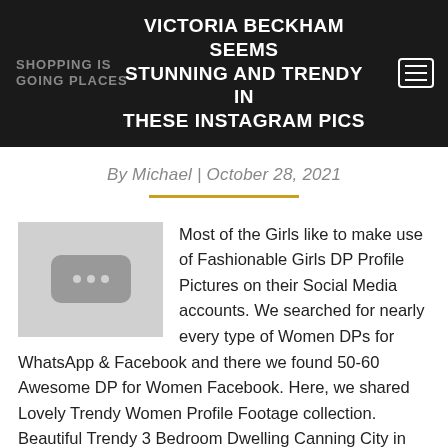VICTORIA BECKHAM SEEMS STUNNING AND TRENDY IN THESE INSTAGRAM PICS
SHOPPING IS GOING PLACES
By Michael | October 28, 2021
[Figure (photo): Placeholder image with three dots on grey background]
Most of the Girls like to make use of Fashionable Girls DP Profile Pictures on their Social Media accounts. We searched for nearly every type of Women DPs for WhatsApp & Facebook and there we found 50-60 Awesome DP for Women Facebook. Here, we shared Lovely Trendy Women Profile Footage collection. Beautiful Trendy 3 Bedroom Dwelling Canning City in London is an house building.